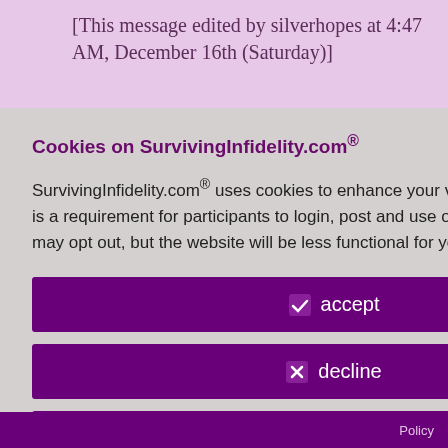[This message edited by silverhopes at 4:47 AM, December 16th (Saturday)]
id 8048638
er 17th, 2017
d to read it is okay to be dge that, for or you it is not.
Cookies on SurvivingInfidelity.com®
SurvivingInfidelity.com® uses cookies to enhance your visit to our website. This is a requirement for participants to login, post and use other features. Visitors may opt out, but the website will be less functional for you.
accept
decline
about cookies
Policy